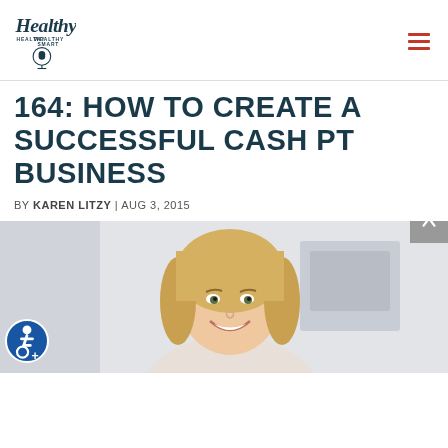Healthy Wealthy Smart logo and navigation
164: HOW TO CREATE A SUCCESSFUL CASH PT BUSINESS
BY KAREN LITZY | AUG 3, 2015
[Figure (photo): Photo of a smiling blonde woman in a bright clinical or office setting]